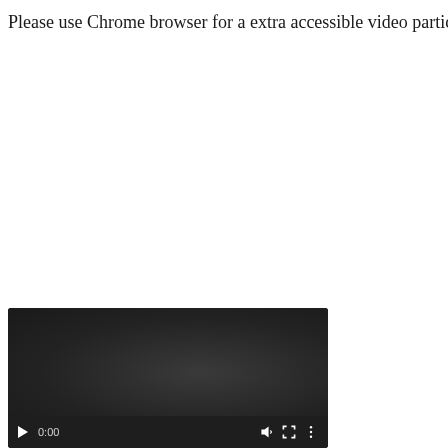Please use Chrome browser for a extra accessible video participant
[Figure (screenshot): A video player with dark background showing controls bar at the bottom. Controls include a play button, time display showing 0:00, volume/speaker icon, fullscreen icon, and three-dot menu icon.]